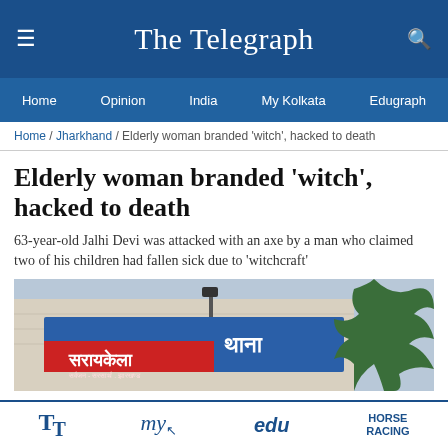The Telegraph
Home / Opinion / India / My Kolkata / Edugraph
Home / Jharkhand / Elderly woman branded 'witch', hacked to death
Elderly woman branded 'witch', hacked to death
63-year-old Jalhi Devi was attacked with an axe by a man who claimed two of his children had fallen sick due to 'witchcraft'
[Figure (photo): Photo of a police station sign board in Hindi reading 'Saraikela Thana' (Saraikela Police Station) with text indicating Jharkhand location]
TT / my / edu / HORSE RACING